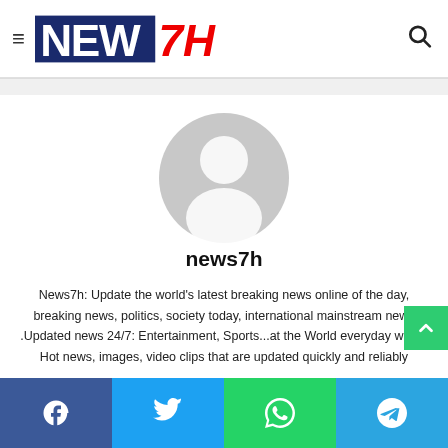NEW7H — navigation header with hamburger menu and search icon
[Figure (illustration): Default user avatar placeholder — grey circle with white silhouette of a person]
news7h
News7h: Update the world's latest breaking news online of the day, breaking news, politics, society today, international mainstream news .Updated news 24/7: Entertainment, Sports...at the World everyday world. Hot news, images, video clips that are updated quickly and reliably
Social share buttons: Facebook, Twitter, WhatsApp, Telegram